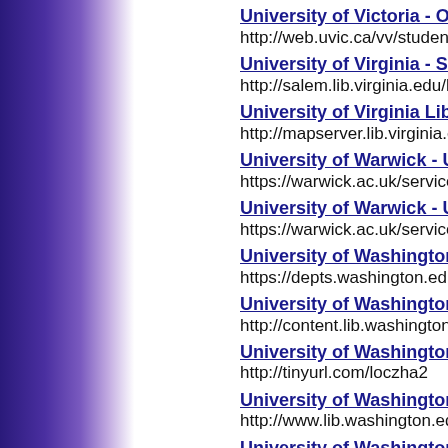University of Victoria - Opium in Victoria
http://web.uvic.ca/vv/student/chinatown/opium/
University of Virginia - Salem Witch Trials
http://salem.lib.virginia.edu/home.html
University of Virginia Library - Historical Ce...
http://mapserver.lib.virginia.edu/
University of Warwick - University Library -...
https://warwick.ac.uk/services/library/mrc/
University of Warwick - University Library -...
https://warwick.ac.uk/services/library/mrc/resea
University of Washington - America's Great...
https://depts.washington.edu/moving1/
University of Washington - Digital Collectio...
http://content.lib.washington.edu/aipnw/index.h
University of Washington - Evergreen State...
http://tinyurl.com/loczha2
University of Washington - University Libra...
http://www.lib.washington.edu/
University of Washington - University Libra...
http://content.lib.washington.edu/
University of Washington - University Libre...